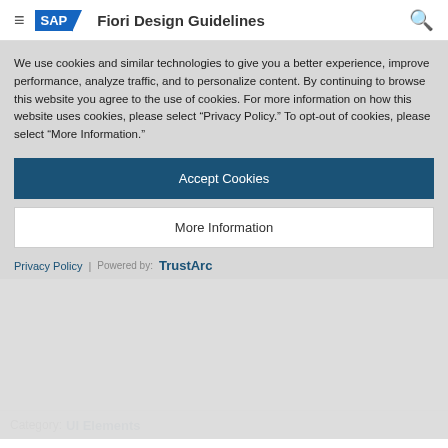SAP Fiori Design Guidelines
Chart – Variation Over Time
[Figure (line-chart): Partial line chart showing variation over time, partially obscured by cookie consent overlay. Y-axis shows values 400M and 350M visible.]
We use cookies and similar technologies to give you a better experience, improve performance, analyze traffic, and to personalize content. By continuing to browse this website you agree to the use of cookies. For more information on how this website uses cookies, please select “Privacy Policy.” To opt-out of cookies, please select “More Information.”
Accept Cookies
More Information
Privacy Policy | Powered by: TrustArc
Category: UI Elements